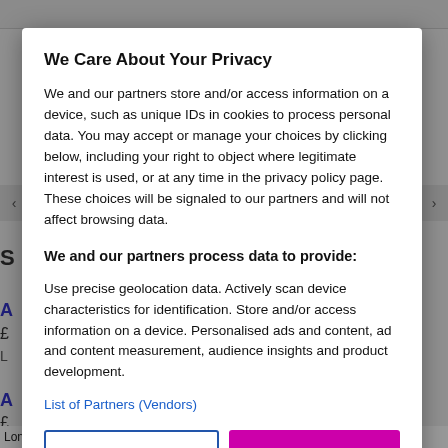We Care About Your Privacy
We and our partners store and/or access information on a device, such as unique IDs in cookies to process personal data. You may accept or manage your choices by clicking below, including your right to object where legitimate interest is used, or at any time in the privacy policy page. These choices will be signaled to our partners and will not affect browsing data.
We and our partners process data to provide:
Use precise geolocation data. Actively scan device characteristics for identification. Store and/or access information on a device. Personalised ads and content, ad and content measurement, audience insights and product development.
List of Partners (Vendors)
Customise
I Accept
London, South East England